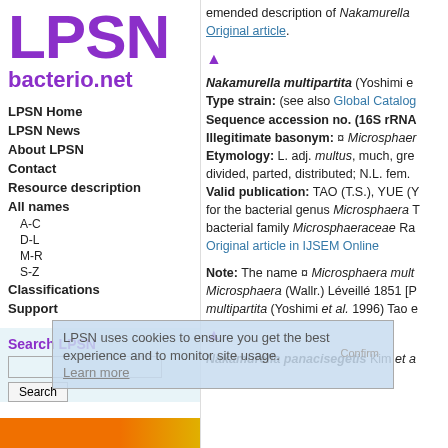LPSN
bacterio.net
LPSN Home
LPSN News
About LPSN
Contact
Resource description
All names
A-C
D-L
M-R
S-Z
Classifications
Support
Search LPSN
emended description of Nakamurella Original article.
Nakamurella multipartita (Yoshimi e Type strain: (see also Global Catalog Sequence accession no. (16S rRNA Illegitimate basonym: ¤ Microsphaer Etymology: L. adj. multus, much, gre divided, parted, distributed; N.L. fem. Valid publication: TAO (T.S.), YUE (Y for the bacterial genus Microsphaera T bacterial family Microsphaeraceae Ra Original article in IJSEM Online
Note: The name ¤ Microsphaera mult Microsphaera (Wallr.) Léveillé 1851 [P multipartita (Yoshimi et al. 1996) Tao e
Nakamurella panacisegetis Kim et a